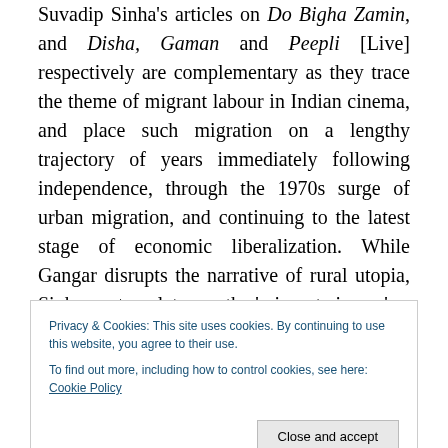Suvadip Sinha's articles on Do Bigha Zamin, and Disha, Gaman and Peepli [Live] respectively are complementary as they trace the theme of migrant labour in Indian cinema, and place such migration on a lengthy trajectory of years immediately following independence, through the 1970s surge of urban migration, and continuing to the latest stage of economic liberalization. While Gangar disrupts the narrative of rural utopia, Sinha contemplates on the 'migrant cinema' as an ethical medium. Anupama Mohan juxtaposes the character of Munna in Dhobi Ghat with that of Jamal Malik of Slumdog Millionaire; the former
Privacy & Cookies: This site uses cookies. By continuing to use this website, you agree to their use. To find out more, including how to control cookies, see here: Cookie Policy
Meenakshi Thapan, Nidhita Sreekumar, and Anshu